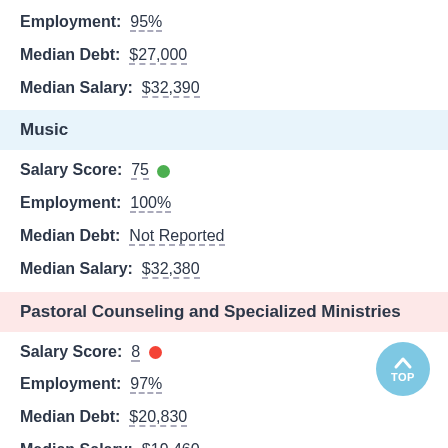Employment: 95%
Median Debt: $27,000
Median Salary: $32,390
Music
Salary Score: 75
Employment: 100%
Median Debt: Not Reported
Median Salary: $32,380
Pastoral Counseling and Specialized Ministries
Salary Score: 8
Employment: 97%
Median Debt: $20,830
Median Salary: $19,460
Psychology, General